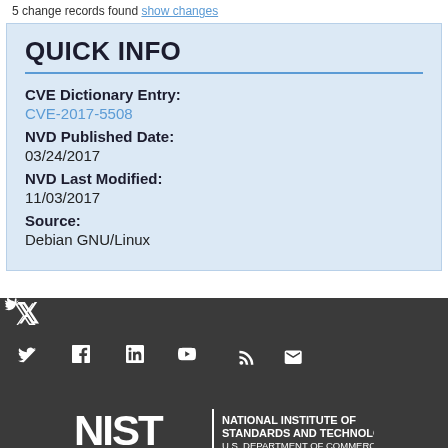5 change records found show changes
QUICK INFO
CVE Dictionary Entry:
CVE-2017-5508
NVD Published Date:
03/24/2017
NVD Last Modified:
11/03/2017
Source:
Debian GNU/Linux
[Figure (infographic): Social media icons: Twitter, Facebook, LinkedIn, YouTube, RSS, Email in white on dark grey background]
[Figure (logo): NIST National Institute of Standards and Technology, U.S. Department of Commerce logo in white on dark grey background]